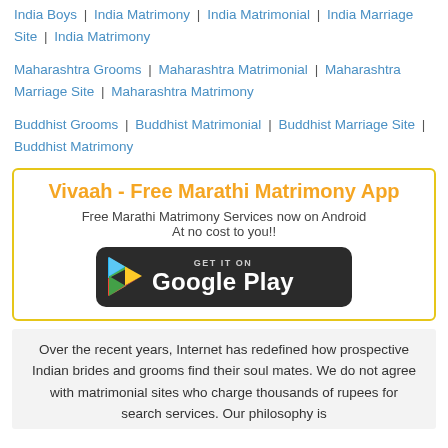India Boys | India Matrimony | India Matrimonial | India Marriage Site | India Matrimony
Maharashtra Grooms | Maharashtra Matrimonial | Maharashtra Marriage Site | Maharashtra Matrimony
Buddhist Grooms | Buddhist Matrimonial | Buddhist Marriage Site | Buddhist Matrimony
[Figure (infographic): Vivaah - Free Marathi Matrimony App promotional box with orange title, subtitle text, and Google Play badge]
Over the recent years, Internet has redefined how prospective Indian brides and grooms find their soul mates. We do not agree with matrimonial sites who charge thousands of rupees for search services. Our philosophy is